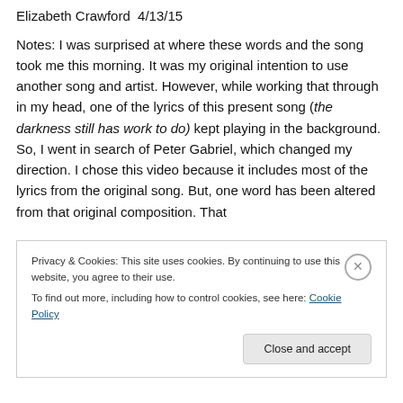Elizabeth Crawford  4/13/15
Notes: I was surprised at where these words and the song took me this morning. It was my original intention to use another song and artist. However, while working that through in my head, one of the lyrics of this present song (the darkness still has work to do) kept playing in the background. So, I went in search of Peter Gabriel, which changed my direction. I chose this video because it includes most of the lyrics from the original song. But, one word has been altered from that original composition. That
Privacy & Cookies: This site uses cookies. By continuing to use this website, you agree to their use.
To find out more, including how to control cookies, see here: Cookie Policy
Close and accept